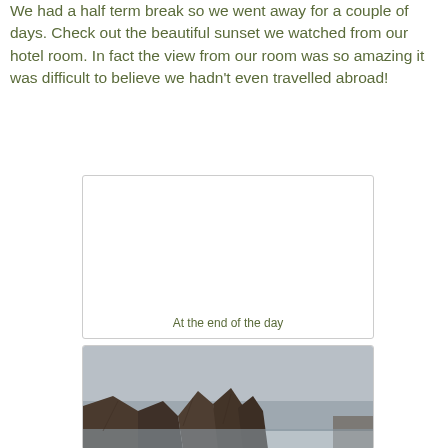We had a half term break so we went away for a couple of days.  Check out the beautiful sunset we watched from our hotel room.  In fact the view from our room was so amazing it was difficult to believe we hadn't even travelled abroad!
[Figure (photo): Photo placeholder with caption 'At the end of the day' — appears to be a sunset photo from a hotel room]
[Figure (photo): Photograph of rocky coastal landscape with grey overcast sky and water in the background]